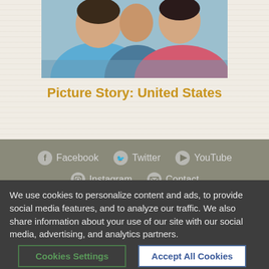[Figure (photo): Photograph of people embracing outdoors, one wearing a blue shirt and another in a pink/magenta zip-up jacket]
Picture Story: United States
Facebook   Twitter   YouTube   Instagram   Contact
AdventistMission.org is an official website of the
We use cookies to personalize content and ads, to provide social media features, and to analyze our traffic. We also share information about your use of our site with our social media, advertising, and analytics partners.
Cookies Settings   Accept All Cookies